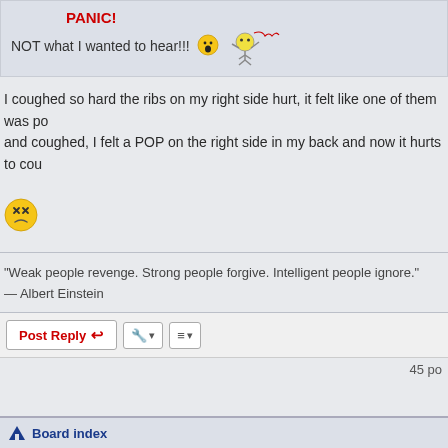PANIC! NOT what I wanted to hear!!!
I coughed so hard the ribs on my right side hurt, it felt like one of them was po... and coughed, I felt a POP on the right side in my back and now it hurts to cou...
[Figure (illustration): Dizzy/confused face emoji]
"Weak people revenge. Strong people forgive. Intelligent people ignore." — Albert Einstein
Post Reply | tools | sort | 45 po...
Board index